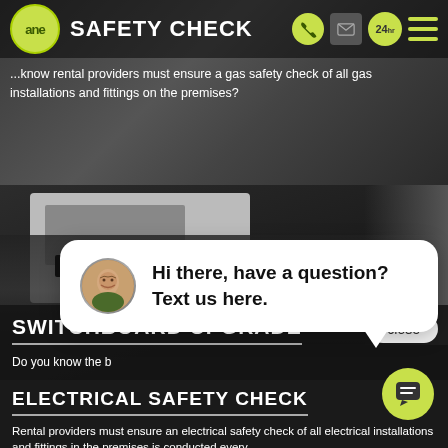SAFETY CHECK
Did you know rental providers must ensure a gas safety check of all gas installations and fittings on the premises?
[Figure (screenshot): Electrician working on a switchboard/fuse panel, dark background]
SWITCHBOARD UPGRADE
Do you know the b...
[Figure (screenshot): Chat widget popup with avatar photo of a smiling man and message: Hi there, have a question? Text us here.]
Hi there, have a question? Text us here.
[Figure (screenshot): Technician working on electrical wiring]
ELECTRICAL SAFETY CHECK
Rental providers must ensure an electrical safety check of all electrical installations and fittings in the premises is conducted every